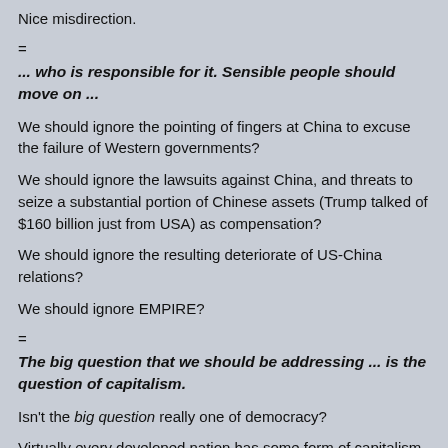Nice misdirection.
=
... who is responsible for it. Sensible people should move on ...
We should ignore the pointing of fingers at China to excuse the failure of Western governments?
We should ignore the lawsuits against China, and threats to seize a substantial portion of Chinese assets (Trump talked of $160 billion just from USA) as compensation?
We should ignore the resulting deteriorate of US-China relations?
We should ignore EMPIRE?
=
The big question that we should be addressing ... is the question of capitalism.
Isn't the big question really one of democracy?
Virtually every developed nation has some form of capitalism. The problem is that a certain elite aka "Deep State" sets national priorities that result in a huge mis-allocation of resources that makes us less safe and less